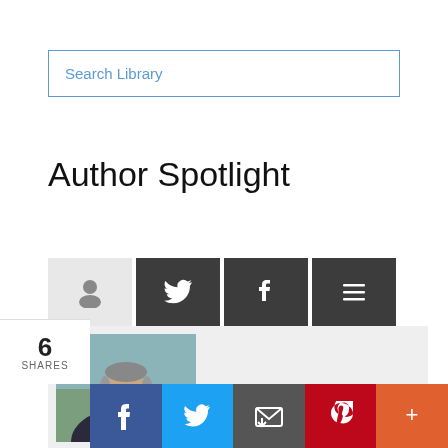Search Library
Author Spotlight
[Figure (screenshot): Social media tab icons: person/profile tab (light gray), Twitter tab (dark gray), Facebook tab (dark gray), list/menu tab (dark gray)]
[Figure (photo): Author headshot photo: middle-aged man smiling, wearing a suit jacket, light background]
6 SHARES
[Figure (infographic): Share bar with icons: Facebook (blue), Twitter (light blue), Email (gray), Pinterest (red), More (orange)]